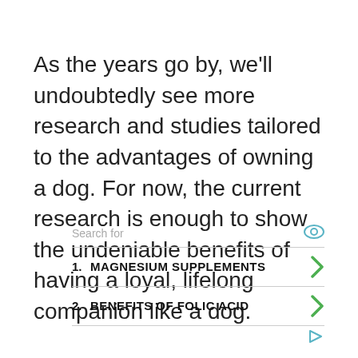As the years go by, we'll undoubtedly see more research and studies tailored to the advantages of owning a dog. For now, the current research is enough to show the undeniable benefits of having a loyal, lifelong companion like a dog.
Search for
1. MAGNESIUM SUPPLEMENTS
2. BENEFITS OF FOLIC ACID